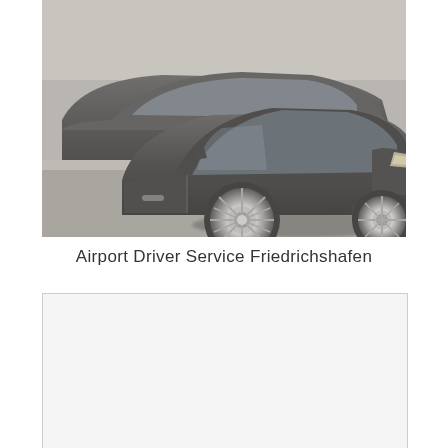[Figure (photo): Photo of luxury black cars parked on a street, showing the front and side views with alloy wheels visible, slightly faded/muted color treatment]
Airport Driver Service Friedrichshafen
[Figure (photo): A second image placeholder or partially visible photo with a light gray/white background and thin border outline]